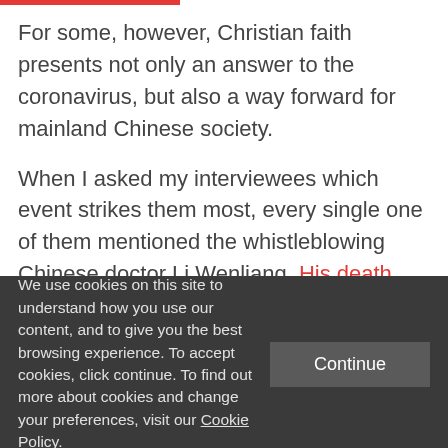For some, however, Christian faith presents not only an answer to the coronavirus, but also a way forward for mainland Chinese society.
When I asked my interviewees which event strikes them most, every single one of them mentioned the whistleblowing Chinese doctor Li Wenliang. His death was met with immense outrage and frustration across
We use cookies on this site to understand how you use our content, and to give you the best browsing experience. To accept cookies, click continue. To find out more about cookies and change your preferences, visit our Cookie Policy.